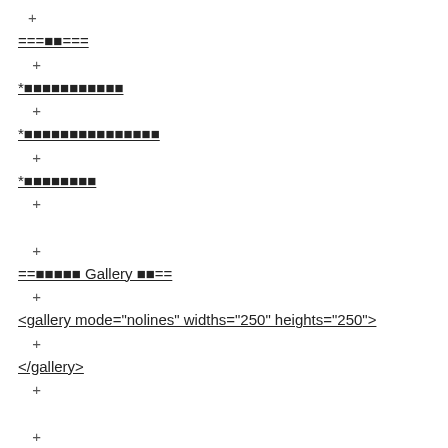+
===■■===
+
*■■■■■■■■■■■
+
*■■■■■■■■■■■■■■■
+
*■■■■■■■■
+
+
==■■■■■ Gallery ■■==
+
<gallery mode="nolines" widths="250" heights="250">
+
</gallery>
+
+
==■■■■■■■■==